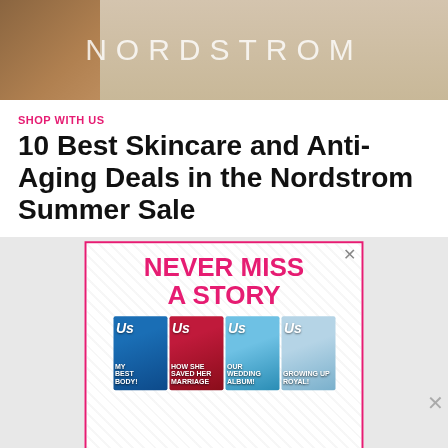[Figure (photo): Nordstrom shopping bag with the Nordstrom logo text visible, warm brown/tan tones]
SHOP WITH US
10 Best Skincare and Anti-Aging Deals in the Nordstrom Summer Sale
[Figure (advertisement): Advertisement for US magazine subscription. Pink text reads NEVER MISS A STORY on diagonal striped background. Below are four US magazine covers showing celebrities with headlines: MY BEST BODY, HOW SHE SAVED HER MARRIAGE, OUR WEDDING ALBUM!, GROWING UP ROYAL!]